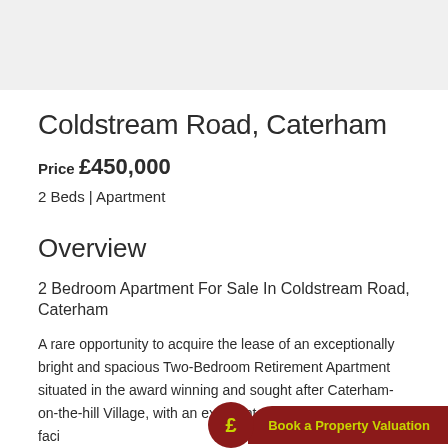[Figure (photo): Gray background area at top of page, partially showing a property photo cropped at the top edge]
Coldstream Road, Caterham
Price £450,000
2 Beds | Apartment
Overview
2 Bedroom Apartment For Sale In Coldstream Road, Caterham
A rare opportunity to acquire the lease of an exceptionally bright and spacious Two-Bedroom Retirement Apartment situated in the award winning and sought after Caterham-on-the-hill Village, with an excellent selection of recreational faci... ...next to Two Bedrooms with an En-suite Bathroom and...